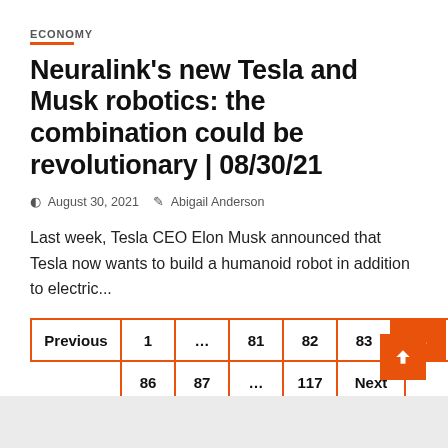ECONOMY
Neuralink's new Tesla and Musk robotics: the combination could be revolutionary | 08/30/21
August 30, 2021   Abigail Anderson
Last week, Tesla CEO Elon Musk announced that Tesla now wants to build a humanoid robot in addition to electric...
Previous  1  ...  81  82  83  84  85  86  87  ...  117  Next